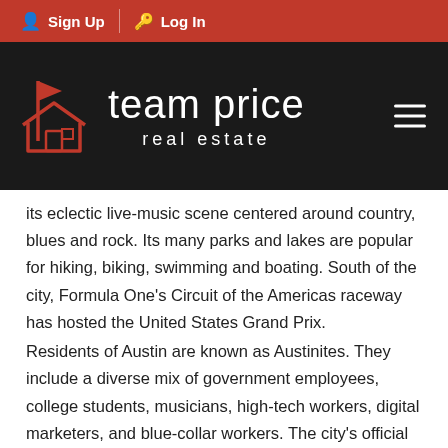Sign Up | Log In
[Figure (logo): Team Price Real Estate logo with house icon on dark background]
its eclectic live-music scene centered around country, blues and rock. Its many parks and lakes are popular for hiking, biking, swimming and boating. South of the city, Formula One's Circuit of the Americas raceway has hosted the United States Grand Prix.
Residents of Austin are known as Austinites. They include a diverse mix of government employees, college students, musicians, high-tech workers, digital marketers, and blue-collar workers. The city's official slogan promotes Austin as "The Live Music Capital of the World", a reference to the city's many musicians and live music venues, as well as the long-running PBS TV